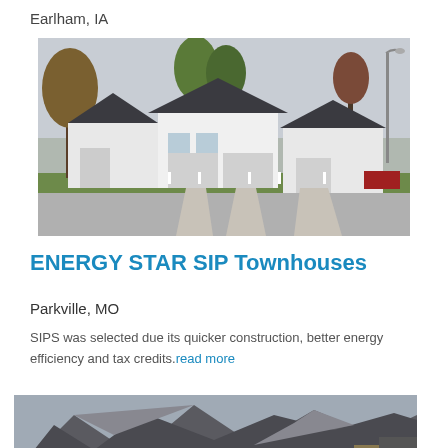Earlham, IA
[Figure (photo): Street view of white townhouse buildings with dark roofs, green lawns, driveways, and trees. A street lamp is visible on the right side.]
ENERGY STAR SIP Townhouses
Parkville, MO
SIPS was selected due its quicker construction, better energy efficiency and tax credits. read more
[Figure (photo): Partial view of rooftops of townhouses or houses, shot from below, showing dark roof shingles and architectural details.]